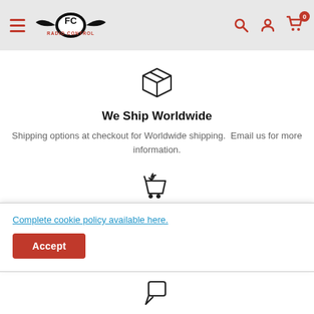FC Radio Control navigation bar with hamburger menu, logo, search, account, and cart icons
[Figure (illustration): Box/package icon representing worldwide shipping]
We Ship Worldwide
Shipping options at checkout for Worldwide shipping.  Email us for more information.
[Figure (illustration): Return/shopping cart icon representing satisfied customers]
Satisfied Customers
Complete cookie policy available here.
Accept
[Figure (illustration): Partially visible icon at bottom of page]